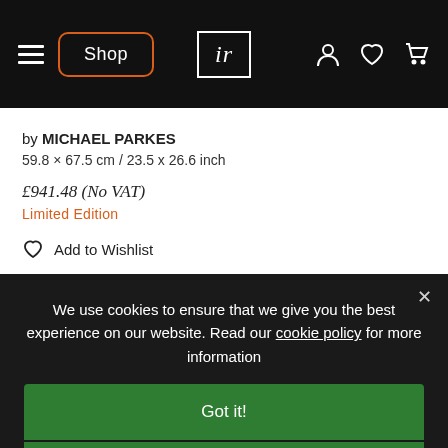Shop | ir | navigation icons
by MICHAEL PARKES
59.8 × 67.5 cm / 23.5 x 26.6 inch
£941.48 (No VAT)
Limited Edition
Add to Wishlist
We use cookies to ensure that we give you the best experience on our website. Read our cookie policy for more information
Got it!
Privacy policy